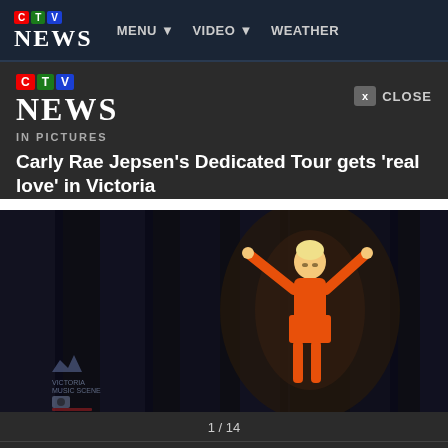CTV News | MENU ▼ | VIDEO ▼ | WEATHER
[Figure (logo): CTV News logo with colored letter badges (C=red, T=green, V=blue) and NEWS wordmark]
CLOSE
IN PICTURES
Carly Rae Jepsen's Dedicated Tour gets 'real love' in Victoria
[Figure (photo): Carly Rae Jepsen performing on stage in an orange outfit with arms raised, dark curtain backdrop, Victoria Music Scene watermark in lower left]
1 / 14
Share this gallery: